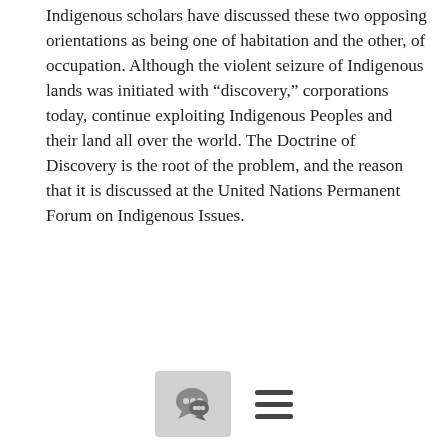Indigenous scholars have discussed these two opposing orientations as being one of habitation and the other, of occupation. Although the violent seizure of Indigenous lands was initiated with “discovery,” corporations today, continue exploiting Indigenous Peoples and their land all over the world. The Doctrine of Discovery is the root of the problem, and the reason that it is discussed at the United Nations Permanent Forum on Indigenous Issues.
This current pandemic and the escalating climate chaos clarify to everyone that there are consequences to the devastation humans have perpetrated upon the environment. As Oren Lyons has pointed out, Natural Law will reestablish balance, and these climate changes will not destroy the Earth, but will most likely destroy the human beings who abuse her. The earth will rebound in its own time. If we are to survive as a species, we must reorient to an Indigenous worldview acknowledging that we are first and foremost, co-inhabitants with this Earth—not in charge of it. These Indigenous values,
[Figure (other): Comment/chat bubble icon button (gray rounded rectangle) and a hamburger menu icon (three horizontal lines) in the page footer]